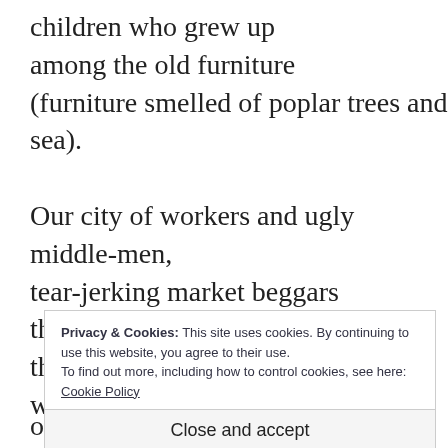children who grew up
among the old furniture
(furniture smelled of poplar trees and sea).

Our city of workers and ugly middle-men,
tear-jerking market beggars
they cleared
the autumn fog
with their shouts.
Privacy & Cookies: This site uses cookies. By continuing to use this website, you agree to their use.
To find out more, including how to control cookies, see here:
Cookie Policy
Close and accept
old proletarian quirks, subway cars,